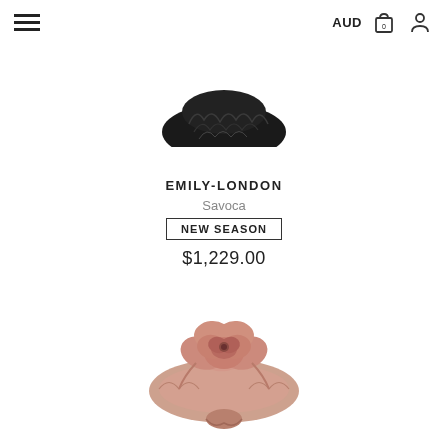AUD  0  [user icon]
[Figure (photo): Dark black/dark green ruffled or pleated hat accessory, partially cropped at top of image]
EMILY-LONDON
Savoca
NEW SEASON
$1,229.00
[Figure (photo): Pink rose-adorned silk headband/hair accessory with gathered fabric and a large flower embellishment]